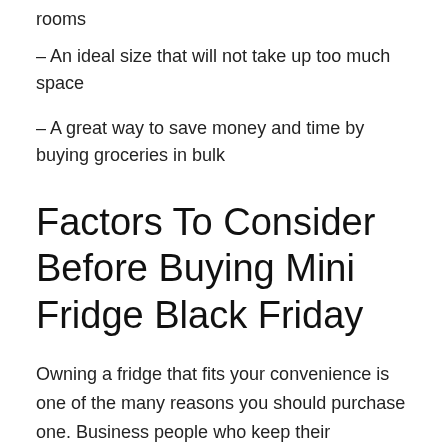rooms
– An ideal size that will not take up too much space
– A great way to save money and time by buying groceries in bulk
Factors To Consider Before Buying Mini Fridge Black Friday
Owning a fridge that fits your convenience is one of the many reasons you should purchase one. Business people who keep their documents in it, students who keep their snacks and drinks in it, or people who simply like to drink ice-cold beverages will benefit from having one.